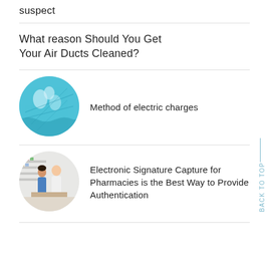suspect
What reason Should You Get Your Air Ducts Cleaned?
[Figure (photo): Circular photo of light bulbs with a teal/cyan background]
Method of electric charges
[Figure (photo): Circular photo of a pharmacist and customer at a pharmacy counter]
Electronic Signature Capture for Pharmacies is the Best Way to Provide Authentication